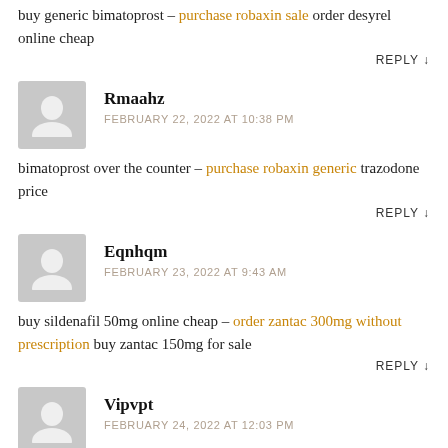buy generic bimatoprost – purchase robaxin sale order desyrel online cheap
REPLY ↓
Rmaahz
FEBRUARY 22, 2022 AT 10:38 PM
bimatoprost over the counter – purchase robaxin generic trazodone price
REPLY ↓
Eqnhqm
FEBRUARY 23, 2022 AT 9:43 AM
buy sildenafil 50mg online cheap – order zantac 300mg without prescription buy zantac 150mg for sale
REPLY ↓
Vipvpt
FEBRUARY 24, 2022 AT 12:03 PM
order sildenafil 50mg sale – viagra 100mg usa oral ranitidine